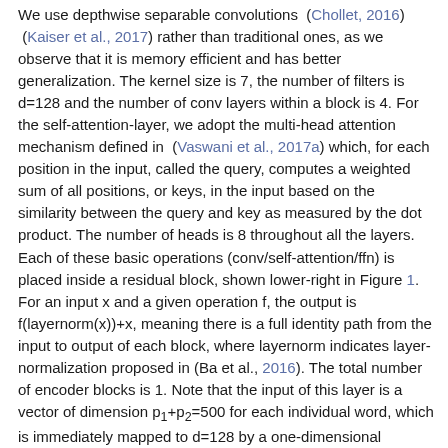We use depthwise separable convolutions (Chollet, 2016) (Kaiser et al., 2017) rather than traditional ones, as we observe that it is memory efficient and has better generalization. The kernel size is 7, the number of filters is d=128 and the number of conv layers within a block is 4. For the self-attention-layer, we adopt the multi-head attention mechanism defined in (Vaswani et al., 2017a) which, for each position in the input, called the query, computes a weighted sum of all positions, or keys, in the input based on the similarity between the query and key as measured by the dot product. The number of heads is 8 throughout all the layers. Each of these basic operations (conv/self-attention/ffn) is placed inside a residual block, shown lower-right in Figure 1. For an input x and a given operation f, the output is f(layernorm(x))+x, meaning there is a full identity path from the input to output of each block, where layernorm indicates layer-normalization proposed in (Ba et al., 2016). The total number of encoder blocks is 1. Note that the input of this layer is a vector of dimension p1+p2=500 for each individual word, which is immediately mapped to d=128 by a one-dimensional convolution. The output of this layer is a also of dimension d=128.